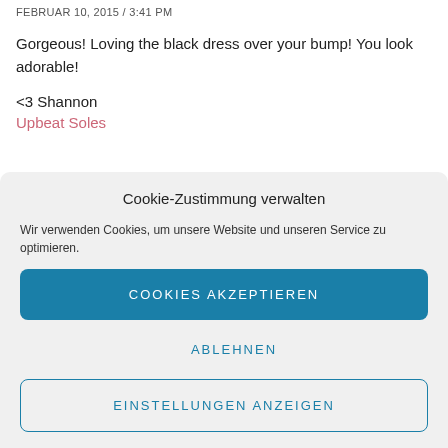FEBRUAR 10, 2015 / 3:41 PM
Gorgeous! Loving the black dress over your bump! You look adorable!
<3 Shannon
Upbeat Soles
Cookie-Zustimmung verwalten
Wir verwenden Cookies, um unsere Website und unseren Service zu optimieren.
COOKIES AKZEPTIEREN
ABLEHNEN
EINSTELLUNGEN ANZEIGEN